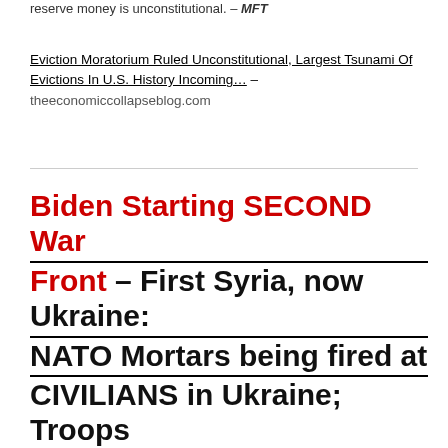reserve money is unconstitutional. – MFT
Eviction Moratorium Ruled Unconstitutional, Largest Tsunami Of Evictions In U.S. History Incoming… – theeconomiccollapseblog.com
Biden Starting SECOND War Front – First Syria, now Ukraine: NATO Mortars being fired at CIVILIANS in Ukraine; Troops and armor moving by train toward Russia Border – halturnerradioshow.com